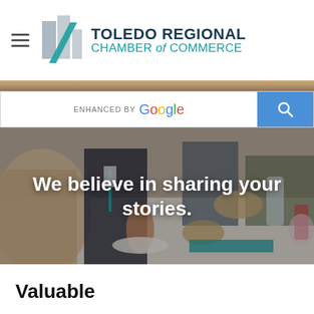Toledo Regional Chamber of Commerce
[Figure (screenshot): Search bar with 'ENHANCED BY Google' text and blue search button with magnifying glass icon]
[Figure (photo): People seated at a banquet/dinner table with food and drinks, overlaid with white bold text reading 'We believe in sharing your stories.']
Valuable